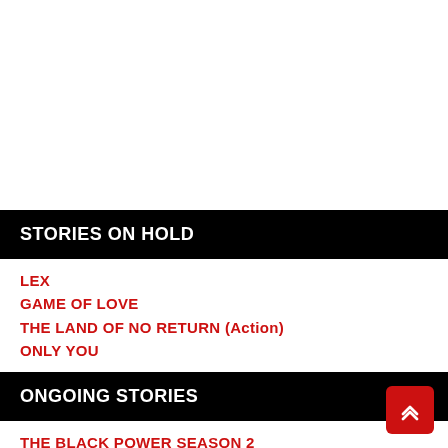STORIES ON HOLD
LEX
GAME OF LOVE
THE LAND OF NO RETURN (Action)
ONLY YOU
ONGOING STORIES
THE BLACK POWER SEASON 2
WITCHES LUST SEASON 2
LUCAS REVENGE
BOYS IN LOVE